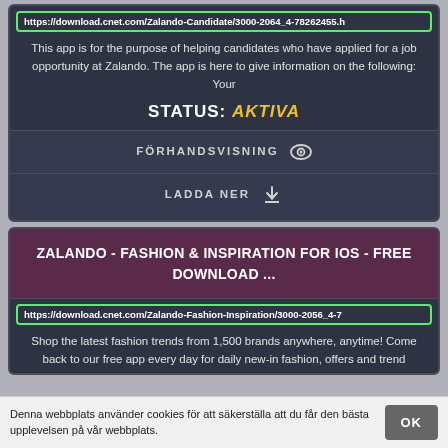https://download.cnet.com/Zalando-Candidate/3000-2064_4-78262455.h
This app is for the purpose of helping candidates who have applied for a job opportunity at Zalando. The app is here to give information on the following: Your
STATUS: AKTIVA
FÖRHANDSVISNING
LADDA NER
ZALANDO - FASHION & INSPIRATION FOR IOS - FREE DOWNLOAD ...
https://download.cnet.com/Zalando-Fashion-Inspiration/3000-2056_4-7
Shop the latest fashion trends from 1,500 brands anywhere, anytime! Come back to our free app every day for daily new-in fashion, offers and trend
Denna webbplats använder cookies för att säkerställa att du får den bästa upplevelsen på vår webbplats.